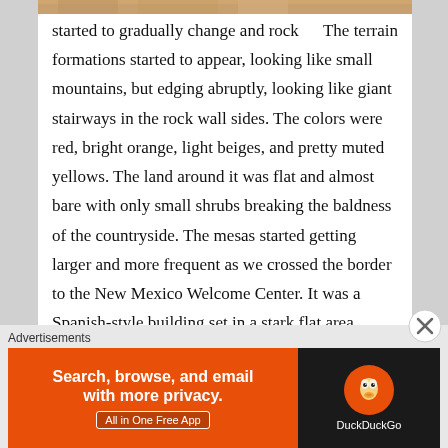[Figure (photo): Partial view of a sandy/rocky terrain image strip at the top]
The terrain started to gradually change and rock formations started to appear, looking like small mountains, but edging abruptly, looking like giant stairways in the rock wall sides. The colors were red, bright orange, light beiges, and pretty muted yellows. The land around it was flat and almost bare with only small shrubs breaking the baldness of the countryside. The mesas started getting larger and more frequent as we crossed the border to the New Mexico Welcome Center. It was a Spanish-style building set in a stark flat area, which looked out to a beautiful mesa sitting across the opposite highway.
Advertisements
[Figure (screenshot): DuckDuckGo advertisement banner: 'Search, browse, and email with more privacy. All in One Free App' on orange background with DuckDuckGo logo on dark background]